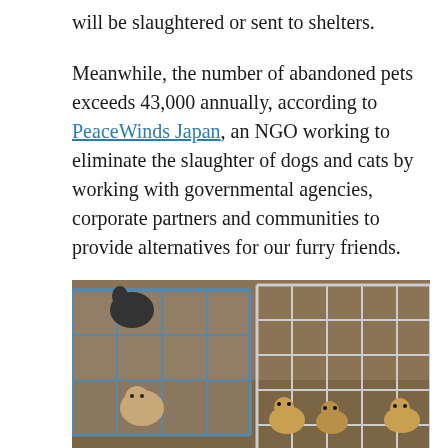will be slaughtered or sent to shelters.
Meanwhile, the number of abandoned pets exceeds 43,000 annually, according to PeaceWinds Japan, an NGO working to eliminate the slaughter of dogs and cats by working with governmental agencies, corporate partners and communities to provide alternatives for our furry friends.
[Figure (photo): Photo of several small puppies and a cat inside wire cages/pens in an indoor setting with wooden walls.]